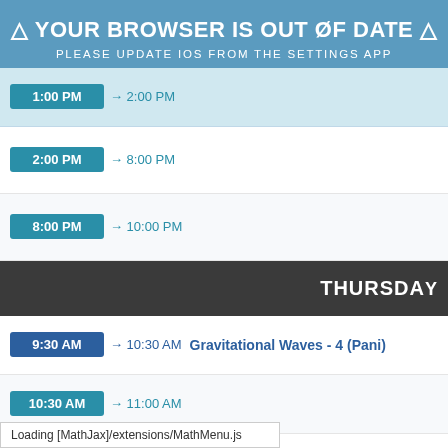⚠ YOUR BROWSER IS OUT ØF DATE ⚠
PLEASE UPDATE IOS FROM THE SETTINGS APP
1:00 PM → 2:00 PM
2:00 PM → 8:00 PM
8:00 PM → 10:00 PM
Thursday
9:30 AM → 10:30 AM  Gravitational Waves - 4 (Pani)
10:30 AM → 11:00 AM
11:00 AM → 12:00 PM  Dark Matter Experiment - 1 (Aprile)
Loading [MathJax]/extensions/MathMenu.js